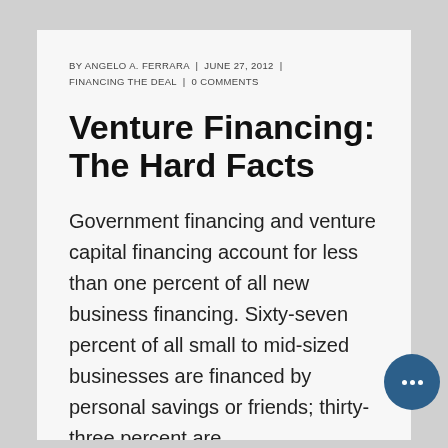BY ANGELO A. FERRARA  |  JUNE 27, 2012  |  FINANCING THE DEAL  |  0 COMMENTS
Venture Financing: The Hard Facts
Government financing and venture capital financing account for less than one percent of all new business financing. Sixty-seven percent of all small to mid-sized businesses are financed by personal savings or friends; thirty-three percent are